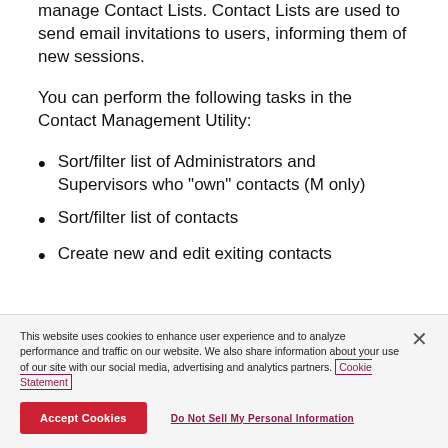manage Contact Lists. Contact Lists are used to send email invitations to users, informing them of new sessions.
You can perform the following tasks in the Contact Management Utility:
Sort/filter list of Administrators and Supervisors who "own" contacts (M only)
Sort/filter list of contacts
Create new and edit exiting contacts
This website uses cookies to enhance user experience and to analyze performance and traffic on our website. We also share information about your use of our site with our social media, advertising and analytics partners. Cookie Statement
Accept Cookies
Do Not Sell My Personal Information